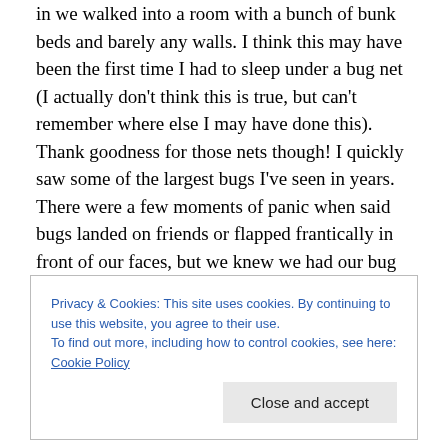in we walked into a room with a bunch of bunk beds and barely any walls. I think this may have been the first time I had to sleep under a bug net (I actually don't think this is true, but can't remember where else I may have done this). Thank goodness for those nets though! I quickly saw some of the largest bugs I've seen in years. There were a few moments of panic when said bugs landed on friends or flapped frantically in front of our faces, but we knew we had our bug nets to protect us in our sleep. We even prepared for bed in total darkness each night, just to lessen the chances of either having large bugs in our
Privacy & Cookies: This site uses cookies. By continuing to use this website, you agree to their use.
To find out more, including how to control cookies, see here: Cookie Policy